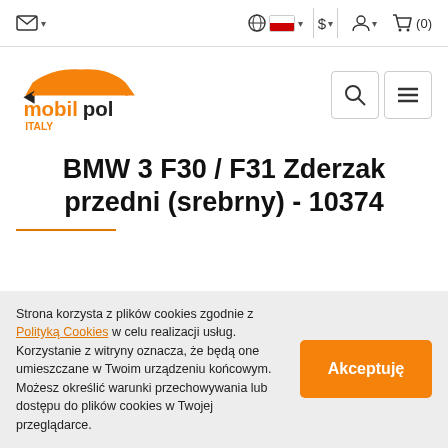mobilpol ITALY — navigation bar with mail, globe/language, currency ($), account, cart (0) icons
[Figure (logo): Mobilpol Italy logo: orange car silhouette with arrow and text 'mobilpol' in orange/black, 'ITALY' below in orange]
BMW 3 F30 / F31 Zderzak przedni (srebrny) - 10374
Strona korzysta z plików cookies zgodnie z Polityką Cookies w celu realizacji usług. Korzystanie z witryny oznacza, że będą one umieszczane w Twoim urządzeniu końcowym. Możesz określić warunki przechowywania lub dostępu do plików cookies w Twojej przeglądarce.